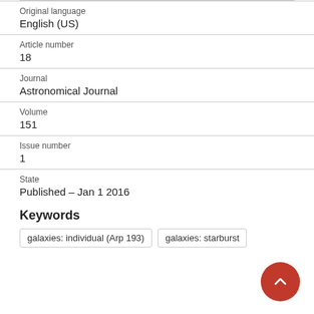Original language
English (US)
Article number
18
Journal
Astronomical Journal
Volume
151
Issue number
1
State
Published – Jan 1 2016
Keywords
galaxies: individual (Arp 193)
galaxies: starburst